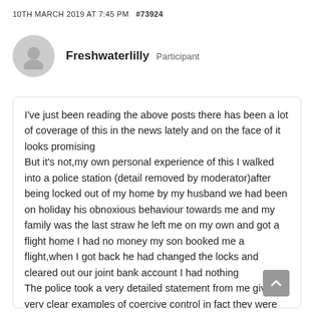10TH MARCH 2019 AT 7:45 PM  #73924
Freshwaterlilly  Participant
I've just been reading the above posts there has been a lot of coverage of this in the news lately and on the face of it looks promising
But it's not,my own personal experience of this I walked into a police station (detail removed by moderator)after being locked out of my home by my husband we had been on holiday his obnoxious behaviour towards me and my family was the last straw he left me on my own and got a flight home I had no money my son booked me a flight,when I got back he had changed the locks and cleared out our joint bank account I had nothing
The police took a very detailed statement from me giving very clear examples of coercive control in fact they were quick to point this out